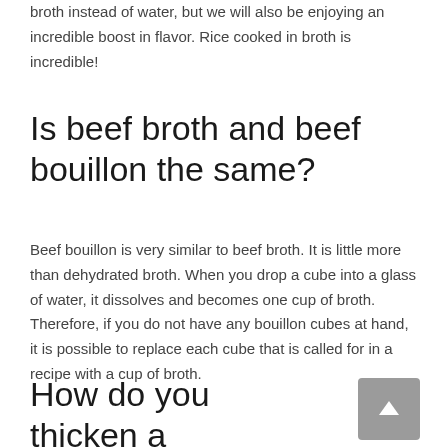broth instead of water, but we will also be enjoying an incredible boost in flavor. Rice cooked in broth is incredible!
Is beef broth and beef bouillon the same?
Beef bouillon is very similar to beef broth. It is little more than dehydrated broth. When you drop a cube into a glass of water, it dissolves and becomes one cup of broth. Therefore, if you do not have any bouillon cubes at hand, it is possible to replace each cube that is called for in a recipe with a cup of broth.
How do you thicken a broth sauce?